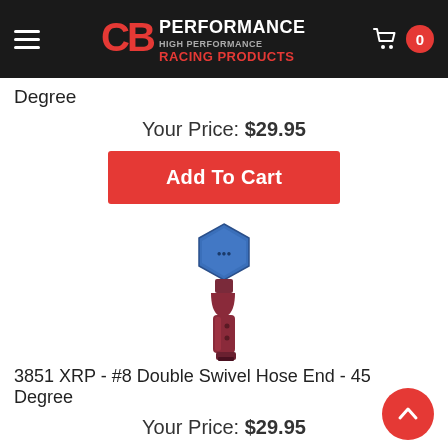CB Performance High Performance Racing Products — Cart: 0
Degree
Your Price: $29.95
Add To Cart
[Figure (photo): A #8 Double Swivel Hose End fitting at 45 degrees, with a blue anodized aluminum nut on top and a red/maroon anodized aluminum body below, shown on a white background.]
3851 XRP - #8 Double Swivel Hose End - 45 Degree
Your Price: $29.95